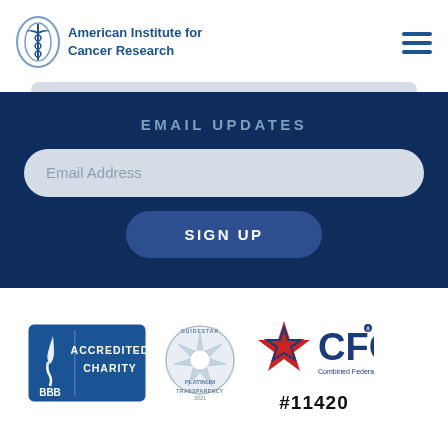[Figure (logo): American Institute for Cancer Research logo with caduceus icon and text]
EMAIL UPDATES
Email Address
SIGN UP
[Figure (logo): BBB Accredited Charity badge]
[Figure (logo): Guidestar Platinum Transparency 2021 seal]
[Figure (logo): CFC Combined Federal Campaign logo with star]
#11420